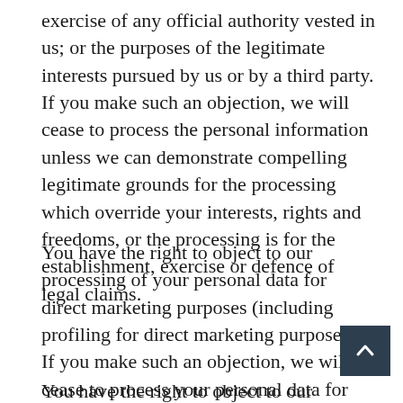exercise of any official authority vested in us; or the purposes of the legitimate interests pursued by us or by a third party. If you make such an objection, we will cease to process the personal information unless we can demonstrate compelling legitimate grounds for the processing which override your interests, rights and freedoms, or the processing is for the establishment, exercise or defence of legal claims.
You have the right to object to our processing of your personal data for direct marketing purposes (including profiling for direct marketing purposes). If you make such an objection, we will cease to process your personal data for this purpose.
You have the right to object to our processing of your personal data for scientific, historical...